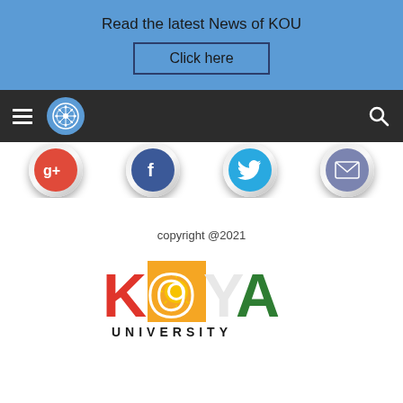Read the latest News of KOU
Click here
[Figure (screenshot): Dark navigation bar with hamburger menu, KOU snowflake logo circle, and search icon]
[Figure (screenshot): Social media icon buttons row: Google+, Facebook, Twitter, Email]
copyright @2021
[Figure (logo): Koya University logo with colorful letters K O (sun icon) Y A and UNIVERSITY text below]